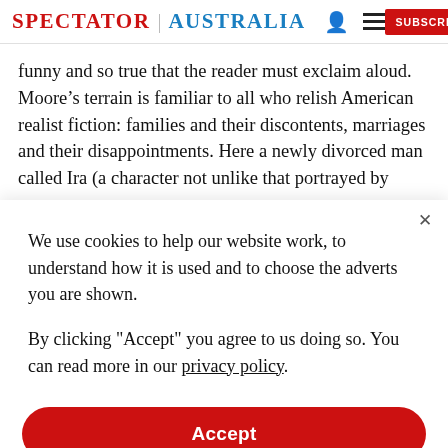SPECTATOR | AUSTRALIA
funny and so true that the reader must exclaim aloud. Moore’s terrain is familiar to all who relish American realist fiction: families and their discontents, marriages and their disappointments. Here a newly divorced man called Ira (a character not unlike that portrayed by
We use cookies to help our website work, to understand how it is used and to choose the adverts you are shown.
By clicking “Accept” you agree to us doing so. You can read more in our privacy policy.
Accept